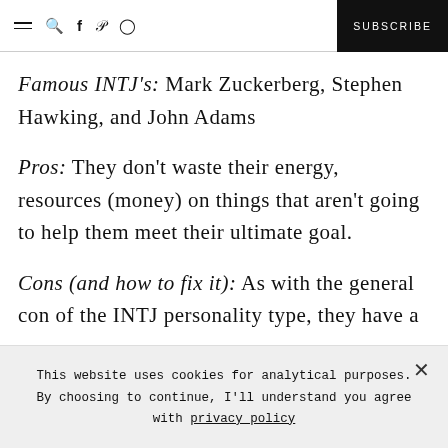≡ 🔍 f 𝓅 ⊡  SUBSCRIBE
Famous INTJ's: Mark Zuckerberg, Stephen Hawking, and John Adams
Pros: They don't waste their energy, resources (money) on things that aren't going to help them meet their ultimate goal.
Cons (and how to fix it): As with the general con of the INTJ personality type, they have a
This website uses cookies for analytical purposes. By choosing to continue, I'll understand you agree with privacy policy